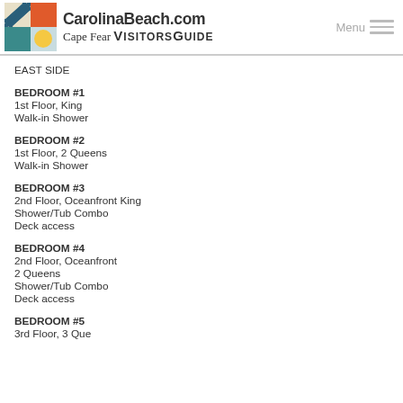CarolinaBeach.com Cape Fear VisitorsGuide
EAST SIDE
BEDROOM #1
1st Floor, King
Walk-in Shower
BEDROOM #2
1st Floor, 2 Queens
Walk-in Shower
BEDROOM #3
2nd Floor, Oceanfront King
Shower/Tub Combo
Deck access
BEDROOM #4
2nd Floor, Oceanfront
2 Queens
Shower/Tub Combo
Deck access
BEDROOM #5
3rd Floor, 3 Queens